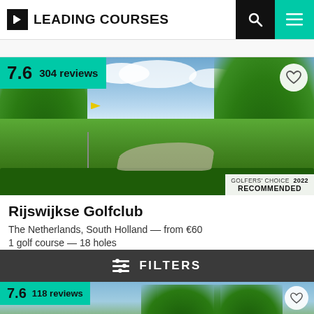LEADING COURSES
[Figure (photo): Golf course photo showing green fairway, trees, path, flag, and blue sky with clouds. Rating badge shows 7.6 and 304 reviews. Golfers' Choice 2022 Recommended badge in bottom right.]
Rijswijkse Golfclub
The Netherlands, South Holland — from €60
1 golf course — 18 holes
FILTERS
[Figure (photo): Partial view of second golf course card showing rating 7.6, 118 reviews, and a photo with trees and blue sky.]